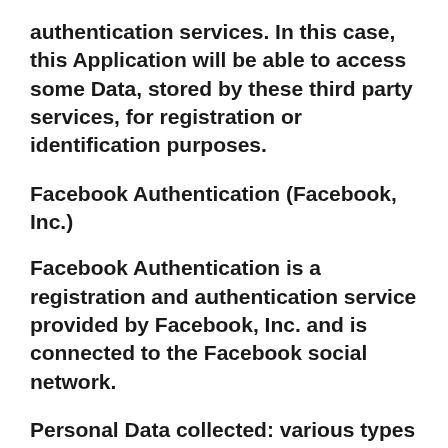authentication services. In this case, this Application will be able to access some Data, stored by these third party services, for registration or identification purposes.
Facebook Authentication (Facebook, Inc.)
Facebook Authentication is a registration and authentication service provided by Facebook, Inc. and is connected to the Facebook social network.
Personal Data collected: various types of Data as specified in the privacy policy of the service.
Place of processing: US – Privacy Policy
Legal information